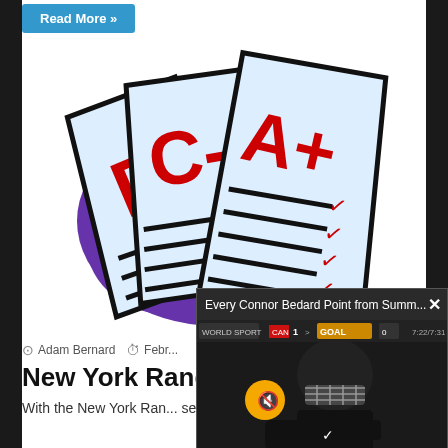Read More »
[Figure (illustration): Cartoon illustration of school report cards/papers with grades: F, C-, and A+ written in red, with red checkmarks, on light blue documents with a purple blob behind them]
Adam Bernard  Febr...
New York Rang...
With the New York Ran... season completed, it's ...
[Figure (screenshot): Popup video player overlay showing 'Every Connor Bedard Point from Summ...' with a close X button, and a video frame of a hockey player wearing a helmet and visor with a yellow mute button overlay]